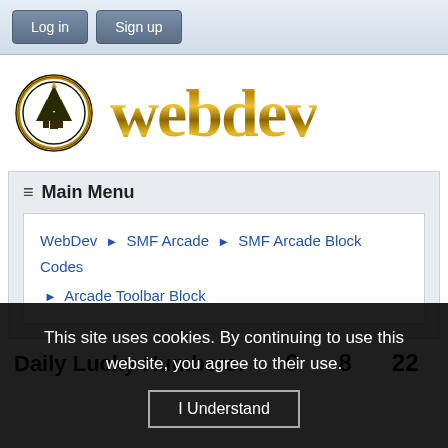Log in  Sign up
[Figure (logo): WebDev website logo with circular emblem and gold 'webdev' text]
≡ Main Menu
WebDev ► SMF Arcade ► SMF Arcade Block Codes ► Arcade Toolbar Block
Daily Lucky Numbers: 6  8  22
This site uses cookies. By continuing to use this website, you agree to their use. I Understand